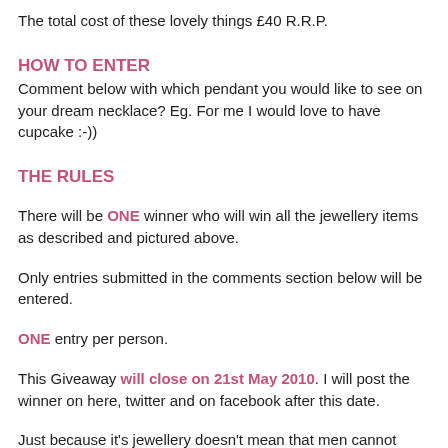The total cost of these lovely things £40 R.R.P.
HOW TO ENTER
Comment below with which pendant you would like to see on your dream necklace? Eg. For me I would love to have cupcake :-))
THE RULES
There will be ONE winner who will win all the jewellery items as described and pictured above.
Only entries submitted in the comments section below will be entered.
ONE entry per person.
This Giveaway will close on 21st May 2010. I will post the winner on here, twitter and on facebook after this date.
Just because it's jewellery doesn't mean that men cannot enter, as I'm sure the lady in your life deserves a treat so you